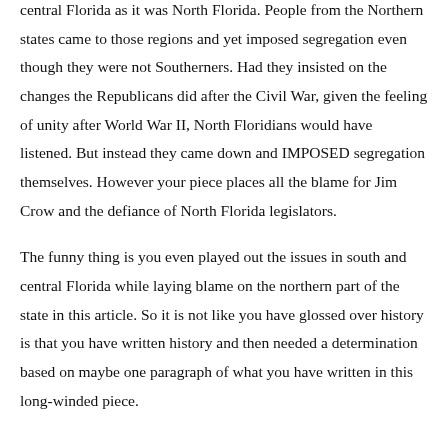central Florida as it was North Florida. People from the Northern states came to those regions and yet imposed segregation even though they were not Southerners. Had they insisted on the changes the Republicans did after the Civil War, given the feeling of unity after World War II, North Floridians would have listened. But instead they came down and IMPOSED segregation themselves. However your piece places all the blame for Jim Crow and the defiance of North Florida legislators.
The funny thing is you even played out the issues in south and central Florida while laying blame on the northern part of the state in this article. So it is not like you have glossed over history is that you have written history and then needed a determination based on maybe one paragraph of what you have written in this long-winded piece.